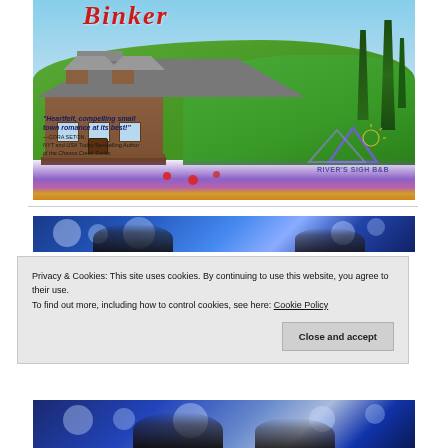[Figure (illustration): Book advertisement for a River's Sigh B&B series romance novel. Shows a log cabin in a meadow with wildflowers and trees, with cursive red title text partially visible at top. Quote overlay reads: 'Heartfelt, compelling small town romance at its best!' attributed to Cora Seton, NYT and USA Today Bestselling Author of the Chance Creek Series. River's Sigh B&B logo on right.]
[Figure (photo): Romantic photo of a couple with bokeh blue light background, heads close together.]
Privacy & Cookies: This site uses cookies. By continuing to use this website, you agree to their use. To find out more, including how to control cookies, see here: Cookie Policy
Close and accept